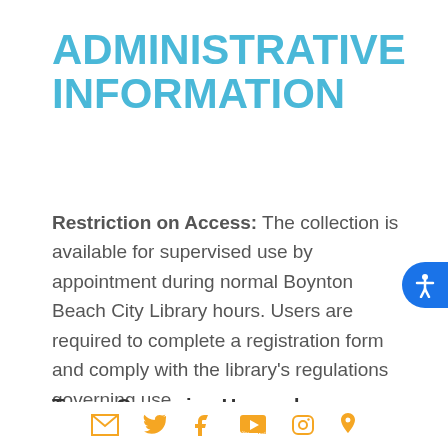ADMINISTRATIVE INFORMATION
Restriction on Access: The collection is available for supervised use by appointment during normal Boynton Beach City Library hours. Users are required to complete a registration form and comply with the library's regulations governing use.
Terms Governing Use and
[Figure (other): Row of social media icons: email, Twitter, Facebook, YouTube, Instagram, location pin — all in gold/yellow color]